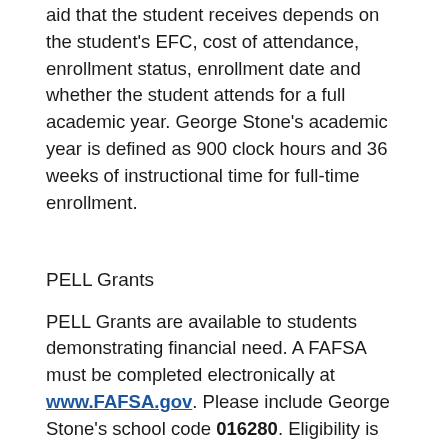aid that the student receives depends on the student's EFC, cost of attendance, enrollment status, enrollment date and whether the student attends for a full academic year. George Stone's academic year is defined as 900 clock hours and 36 weeks of instructional time for full-time enrollment.
PELL Grants
PELL Grants are available to students demonstrating financial need. A FAFSA must be completed electronically at www.FAFSA.gov. Please include George Stone's school code 016280. Eligibility is determined by the Financial Aid Office.
PELL Grant Disbursements